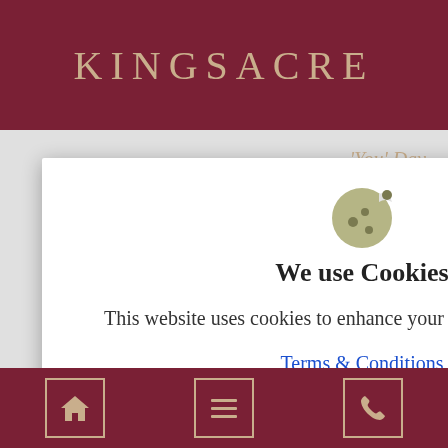KINGSACRE
You' Day
[Figure (screenshot): Cookie consent modal dialog on Kingsacre website. Contains a cookie icon, heading 'We use Cookies', body text 'This website uses cookies to enhance your browsing experience.', a 'Terms & Conditions' link, and an 'Accept' button. A close (×) button is in the top right.]
Home | Menu | Phone